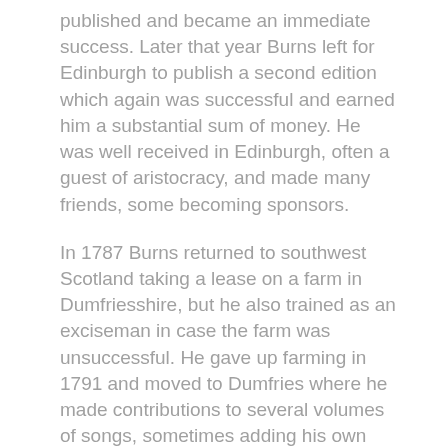published and became an immediate success. Later that year Burns left for Edinburgh to publish a second edition which again was successful and earned him a substantial sum of money. He was well received in Edinburgh, often a guest of aristocracy, and made many friends, some becoming sponsors.
In 1787 Burns returned to southwest Scotland taking a lease on a farm in Dumfriesshire, but he also trained as an exciseman in case the farm was unsuccessful. He gave up farming in 1791 and moved to Dumfries where he made contributions to several volumes of songs, sometimes adding his own lyrics to traditional folk melodies and composing his own melodies from fragments of tunes. He continued to write poetry too, some advocating reform such as "The Slaves Lament".
He continued to work as an exciseman, often making long journeys on horseback in all weathers and this may have